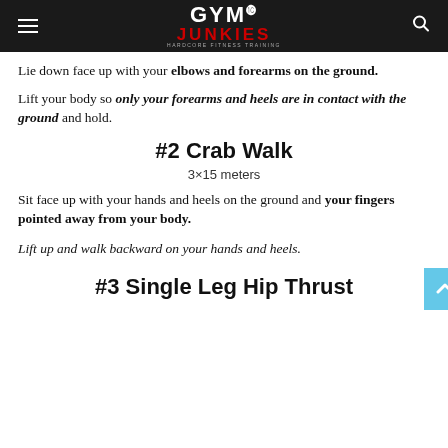GYM JUNKIES HARDCORE FITNESS TRAINING
Lie down face up with your elbows and forearms on the ground.
Lift your body so only your forearms and heels are in contact with the ground and hold.
#2 Crab Walk
3×15 meters
Sit face up with your hands and heels on the ground and your fingers pointed away from your body.
Lift up and walk backward on your hands and heels.
#3 Single Leg Hip Thrust